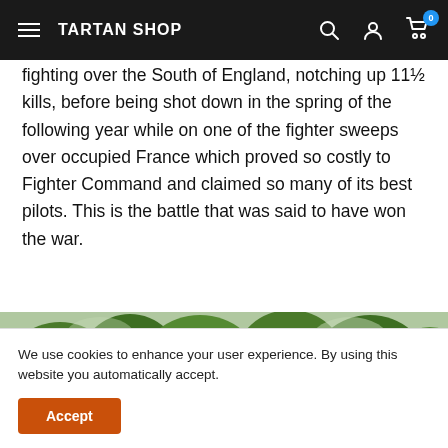TARTAN SHOP
fighting over the South of England, notching up 11½ kills, before being shot down in the spring of the following year while on one of the fighter sweeps over occupied France which proved so costly to Fighter Command and claimed so many of its best pilots. This is the battle that was said to have won the war.
[Figure (photo): Outdoor scene with green trees and what appears to be a statue or figure in a parkland setting]
We use cookies to enhance your user experience. By using this website you automatically accept.